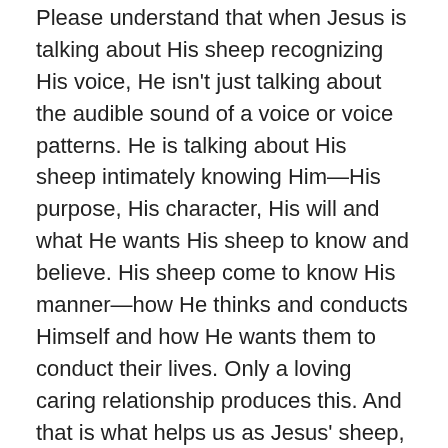Please understand that when Jesus is talking about His sheep recognizing His voice, He isn't just talking about the audible sound of a voice or voice patterns. He is talking about His sheep intimately knowing Him—His purpose, His character, His will and what He wants His sheep to know and believe. His sheep come to know His manner—how He thinks and conducts Himself and how He wants them to conduct their lives. Only a loving caring relationship produces this. And that is what helps us as Jesus' sheep, to know His voice which is really more His will and His manner.
We live in the day of tabloids and celebrity mania. People seem to crave hearing and reading about movie stars, singers, and famous people. After a while, they begin to think they know some of these people, even talking about them like they were friends. You can read all day